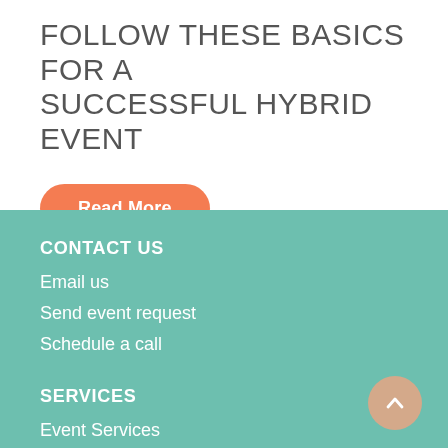FOLLOW THESE BASICS FOR A SUCCESSFUL HYBRID EVENT
Read More
CONTACT US
Email us
Send event request
Schedule a call
SERVICES
Event Services